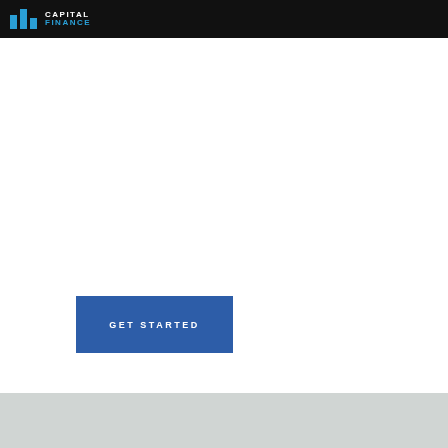CAPITAL FINANCE
[Figure (other): Blue 'GET STARTED' button with white uppercase letter-spaced text on a blue rectangle background]